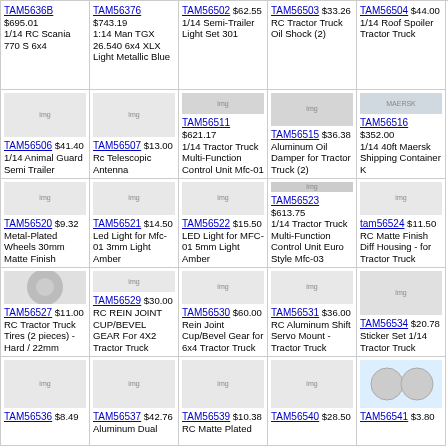| Col1 | Col2 | Col3 | Col4 | Col5 |
| --- | --- | --- | --- | --- |
| TAM5636B $695.01 1/14 RC Scania 770 S 6x4 | TAM56376 $743.19 1:14 Man TGX 26.540 6x4 XLX Light Metallic Blue | TAM56502 $62.55 1/14 Semi-Trailer Light Set 301 | TAM56503 $33.26 RC Tractor Truck Oil Shock (2) | TAM56504 $44.00 1/14 Roof Spoiler Tractor Truck |
| TAM56506 $41.40 1/14 Animal Guard Semi Trailer | TAM56507 $13.00 Rc Telescopic Antenna | TAM56511 $621.17 1/14 Tractor Truck Multi-Function Control Unit Mfc-01 | TAM56515 $36.38 Aluminum Oil Damper for Tractor Truck (2) | TAM56516 $352.00 1/14 40ft Maersk Shipping Container K |
| TAM56520 $9.32 Metal-Plated Wheels 30mm Matte Finish | TAM56521 $14.50 Led Light for Mfc-01 3mm Light Amber | TAM56522 $15.50 LED Light for MFC-01 5mm Light Amber | TAM56523 $613.75 1/14 Tractor Truck Multi-Function Control Unit Euro Style Mfc-03 | tam56524 $11.50 RC Matte Finish Diff Housing - for Tractor Truck |
| TAM56527 $11.00 RC Tractor Truck Tires (2 pieces) - Hard / 22mm | TAM56529 $30.00 RC REIN JOINT CUP/BEVEL GEAR For 4X2 Tractor Truck | TAM56530 $60.00 Rein Joint Cup/Bevel Gear for 6x4 Tractor Truck | TAM56531 $36.00 RC Aluminum Shift Servo Mount - Tractor Truck | TAM56534 $20.78 Sticker Set 1/14 Tractor Truck |
| TAM56536 $8.49 | TAM56537 $42.76 Aluminum Dual | TAM56539 $10.38 RC Matte Plated | TAM56540 $28.50 | TAM56541 $3.80 |